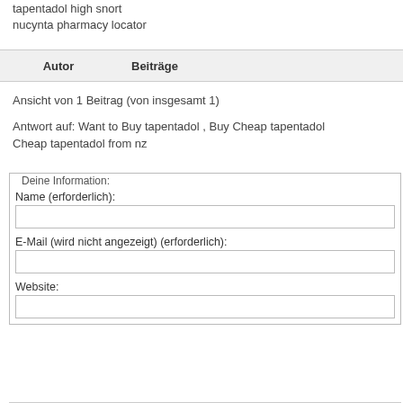tapentadol high snort
nucynta pharmacy locator
| Autor | Beiträge |
| --- | --- |
Ansicht von 1 Beitrag (von insgesamt 1)
Antwort auf: Want to Buy tapentadol , Buy Cheap tapentadol Cheap tapentadol from nz
Deine Information:
Name (erforderlich):
E-Mail (wird nicht angezeigt) (erforderlich):
Website: